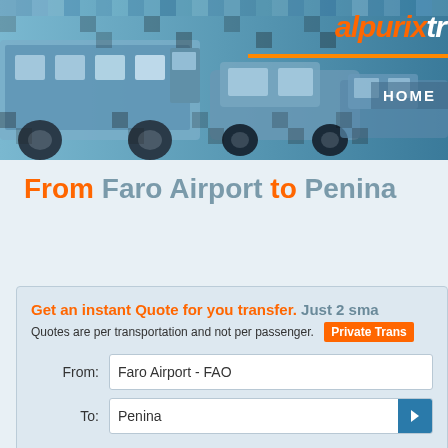[Figure (screenshot): Website header banner showing pixelated/mosaic style buses and vehicles in blue tones, with orange logo text 'alpurix tr' and 'HOME' navigation on the right side]
From Faro Airport to Penina
Get an instant Quote for you transfer. Just 2 sma Quotes are per transportation and not per passenger. Private Trans
From: Faro Airport - FAO
To: Penina